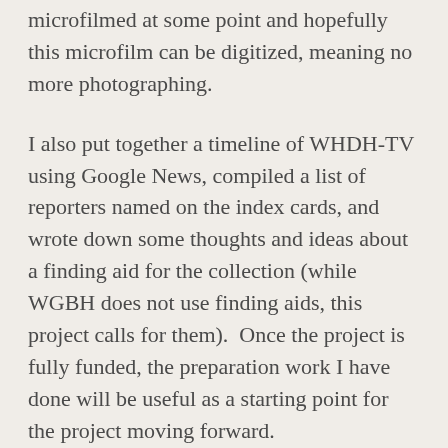microfilmed at some point and hopefully this microfilm can be digitized, meaning no more photographing.
I also put together a timeline of WHDH-TV using Google News, compiled a list of reporters named on the index cards, and wrote down some thoughts and ideas about a finding aid for the collection (while WGBH does not use finding aids, this project calls for them).  Once the project is fully funded, the preparation work I have done will be useful as a starting point for the project moving forward.